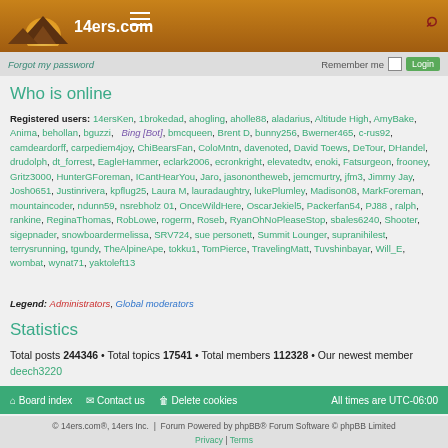14ers.com header with logo, hamburger menu, and search icon
Forgot my password Remember me Login
Who is online
Registered users: 14ersKen, 1brokedad, ahogling, aholle88, aladarius, Altitude High, AmyBake, Anima, behollan, bguzzi, Bing [Bot], bmcqueen, Brent D, bunny256, Bwerner465, c-rus92, camdeardorff, carpediem4joy, ChiBearsFan, ColoMntn, davenoted, David Toews, DeTour, DHandel, drudolph, dt_forrest, EagleHammer, eclark2006, ecronkright, elevatedtv, enoki, Fatsurgeon, frooney, Gritz3000, HunterGForeman, ICantHearYou, Jaro, jasonontheweb, jemcmurtry, jfm3, Jimmy Jay, Josh0651, Justinrivera, kpflug25, Laura M, lauradaughtry, lukePlumley, Madison08, MarkForeman, mountaincoder, ndunn59, nsrebholz 01, OnceWildHere, OscarJekiel5, Packerfan54, PJ88, ralph, rankine, ReginaThomas, RobLowe, rogerm, Roseb, RyanOhNoPleaseStop, sbales6240, Shooter, sigepnader, snowboardermelissa, SRV724, sue personett, Summit Lounger, supranihilest, terrysrunning, tgundy, TheAlpineApe, tokku1, TomPierce, TravelingMatt, Tuvshinbayar, Will_E, wombat, wynat71, yaktoleft13
Legend: Administrators, Global moderators
Statistics
Total posts 244346 • Total topics 17541 • Total members 112328 • Our newest member deech3220
Board index | Contact us | Delete cookies | All times are UTC-06:00
© 14ers.com®, 14ers Inc. | Forum Powered by phpBB® Forum Software © phpBB Limited | Privacy | Terms